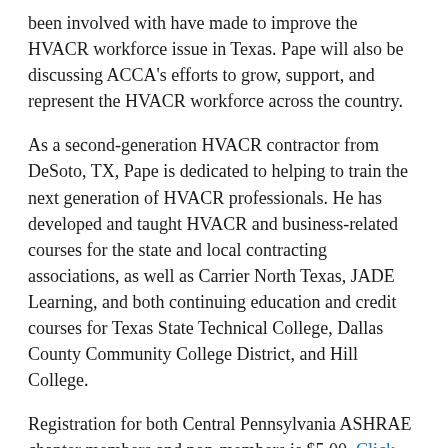been involved with have made to improve the HVACR workforce issue in Texas. Pape will also be discussing ACCA's efforts to grow, support, and represent the HVACR workforce across the country.
As a second-generation HVACR contractor from DeSoto, TX, Pape is dedicated to helping to train the next generation of HVACR professionals. He has developed and taught HVACR and business-related courses for the state and local contracting associations, as well as Carrier North Texas, JADE Learning, and both continuing education and credit courses for Texas State Technical College, Dallas County Community College District, and Hill College.
Registration for both Central Pennsylvania ASHRAE chapter members and non-members is $5.00. Click here to register.